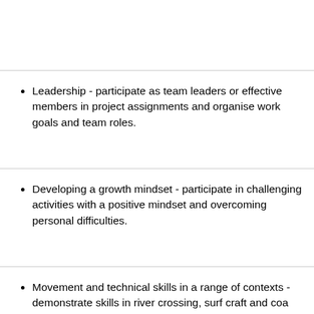Leadership - participate as team leaders or effective members in project assignments and organise work goals and team roles.
Developing a growth mindset - participate in challenging activities with a positive mindset and overcoming personal difficulties.
Movement and technical skills in a range of contexts - demonstrate skills in river crossing, surf craft and coa…
Other information: